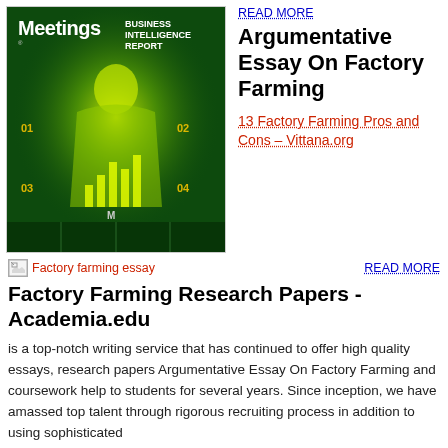[Figure (photo): Magazine cover: Meetings Business Intelligence Report with a glowing yellow-green figure on dark green background with bar charts and data visualizations]
READ MORE
Argumentative Essay On Factory Farming
13 Factory Farming Pros and Cons – Vittana.org
[Figure (photo): Broken image placeholder labeled 'Factory farming essay']
READ MORE
Factory Farming Research Papers - Academia.edu
is a top-notch writing service that has continued to offer high quality essays, research papers Argumentative Essay On Factory Farming and coursework help to students for several years. Since inception, we have amassed top talent through rigorous recruiting process in addition to using sophisticated